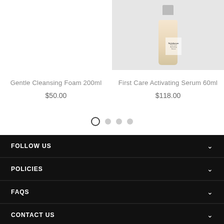[Figure (photo): Product image of First Care Activating Serum 60ml bottle on grey background, partially visible at top right]
Gentle Cleansing Foam 200ml
$50.00
First Care Activating Serum 60ml
$118.00
[Figure (other): Carousel pagination dots: one open circle (active) followed by three filled grey circles]
FOLLOW US
POLICIES
FAQS
CONTACT US